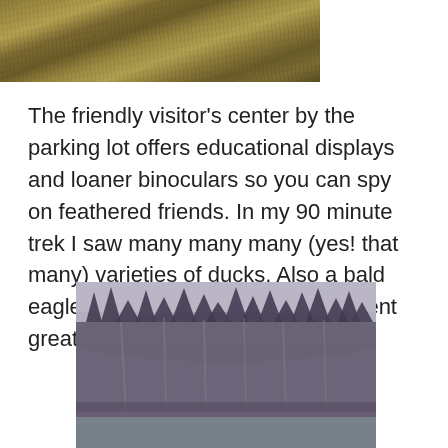[Figure (photo): Top portion of a nature photo showing autumn-colored ground cover or grassy/mossy terrain in warm brown and golden tones, with some bare dark branches visible.]
The friendly visitor's center by the parking lot offers educational displays and loaner binoculars so you can spy on feathered friends. In my 90 minute trek I saw many many many (yes! that many) varieties of ducks. Also a bald eagle in flight, and about four different great blue herons. Beauties.
[Figure (photo): A nature/landscape photo showing a lake or river in the foreground with a dense forest of bare deciduous trees and some evergreens in the background. The image has a muted, vintage, slightly purple-toned filter applied.]